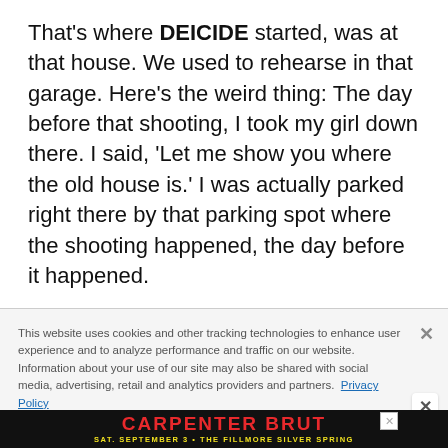That's where DEICIDE started, was at that house. We used to rehearse in that garage. Here's the weird thing: The day before that shooting, I took my girl down there. I said, 'Let me show you where the old house is.' I was actually parked right there by that parking spot where the shooting happened, the day before it happened.
This website uses cookies and other tracking technologies to enhance user experience and to analyze performance and traffic on our website. Information about your use of our site may also be shared with social media, advertising, retail and analytics providers and partners. Privacy Policy
[Figure (infographic): Advertisement banner for 'CARPENTER BRUT' concert at The Fillmore Silver Spring on Sat. September 3. Dark background with red stylized text and a figure with braided hair.]